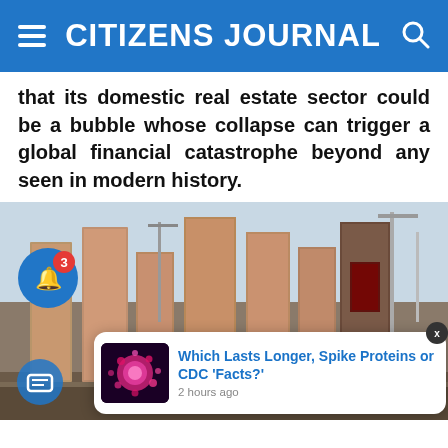CITIZENS JOURNAL
that its domestic real estate sector could be a bubble whose collapse can trigger a global financial catastrophe beyond any seen in modern history.
[Figure (photo): Photograph of tall under-construction residential high-rise buildings in China, with construction cranes visible, taken from ground level looking up. A person is visible in the lower right portion. A bell notification icon with a red badge showing '3' is overlaid on the left side. A chat bubble icon is in the bottom left. A notification popup in the bottom right area shows a pink coronavirus image thumbnail and the text 'Which Lasts Longer, Spike Proteins or CDC Facts?' with '2 hours ago', and an X close button.]